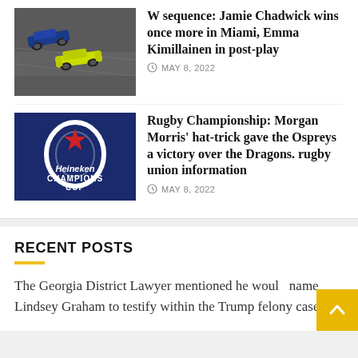[Figure (photo): Aerial photo of two Formula 1/IndyCar race cars on track, one blue and one yellow-green]
W sequence: Jamie Chadwick wins once more in Miami, Emma Kimillainen in post-play
MAY 8, 2022
[Figure (photo): Photo of Heineken Champions Cup banner/flag with blue background, white oval ring, red star, and white text]
Rugby Championship: Morgan Morris' hat-trick gave the Ospreys a victory over the Dragons. rugby union information
MAY 8, 2022
RECENT POSTS
The Georgia District Lawyer mentioned he would name Lindsey Graham to testify within the Trump felony case.